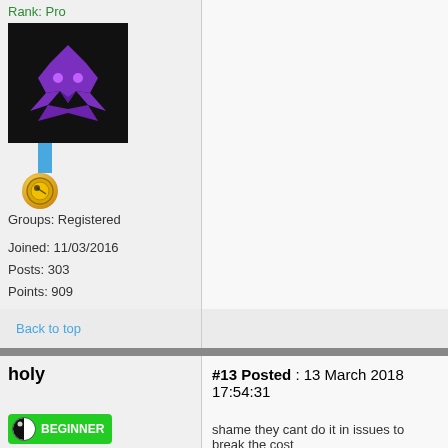Rank: Pro
[Figure (illustration): Decepticon logo - purple Transformer symbol on black background]
[Figure (illustration): Gold medal with blue ribbon]
Groups: Registered
Joined: 11/03/2016
Posts: 303
Points: 909
Back to top
holy
#13 Posted : 13 March 2018 17:54:31
[Figure (illustration): Beginner badge with half-black half-white circle icon and green BEGINNER label]
Rank: Beginner Level 2
Groups: Registered
Joined: 10/08/2017
Posts: 13
Points: 54
shame they cant do it in issues to break the cost
Back to top